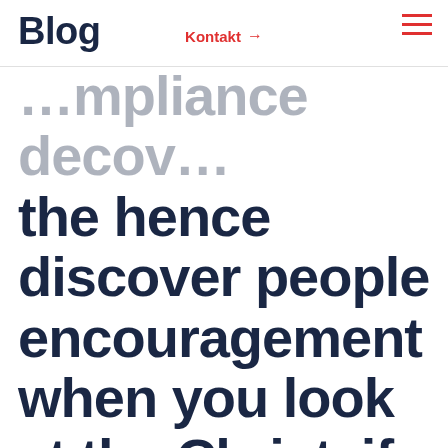Blog  Kontakt →  ☰
…mpliance decov the hence discover people encouragement when you look at the Christ, if there is one consolation …